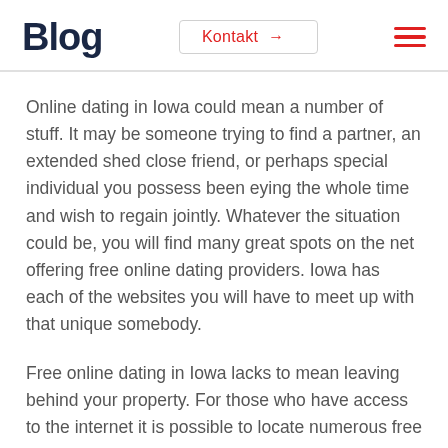Blog
Online dating in Iowa could mean a number of stuff. It may be someone trying to find a partner, an extended shed close friend, or perhaps special individual you possess been eying the whole time and wish to regain jointly. Whatever the situation could be, you will find many great spots on the net offering free online dating providers. Iowa has each of the websites you will have to meet up with that unique somebody.
Free online dating in Iowa lacks to mean leaving behind your property. For those who have access to the internet it is possible to locate numerous free online